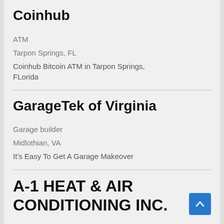Coinhub
ATM
Tarpon Springs, FL
Coinhub Bitcoin ATM in Tarpon Springs, FLorida
GarageTek of Virginia
Garage builder
Midlothian, VA
It's Easy To Get A Garage Makeover
A-1 HEAT & AIR CONDITIONING INC.